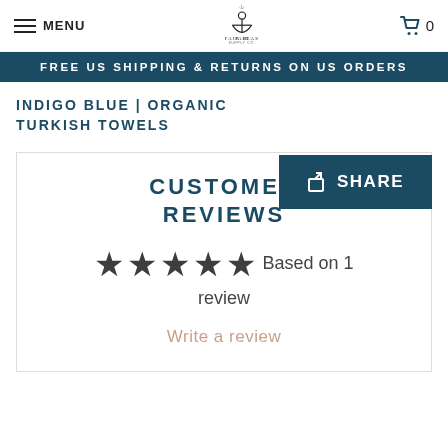MENU | Fair Seas Supply Co. | Cart 0
FREE US SHIPPING & RETURNS ON US ORDERS
INDIGO BLUE | ORGANIC TURKISH TOWELS
[Figure (other): Share button with share icon and text SHARE on dark teal background]
CUSTOMER REVIEWS
★★★★★ Based on 1 review
Write a review